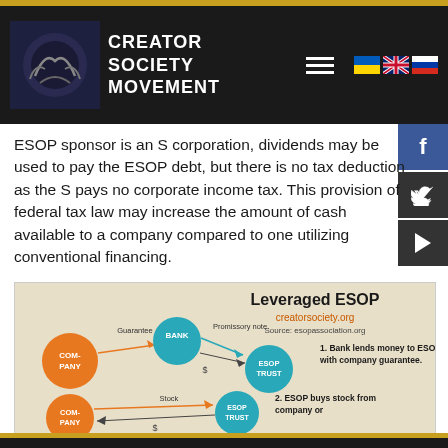CREATOR SOCIETY MOVEMENT
ESOP sponsor is an S corporation, dividends may be used to pay the ESOP debt, but there is no tax deduction as the S pays no corporate income tax. This provision of federal tax law may increase the amount of cash available to a company compared to one utilizing conventional financing.
[Figure (infographic): Leveraged ESOP diagram showing relationships between BANK, COMPANY, and ESOP TRUST with labeled steps: 1. Bank lends money to ESOP with company guarantee. 2. ESOP buys stock from company or. Steps shown with arrows and colored circles (orange for COMPANY, teal/cyan for BANK and ESOP TRUST). Source: esopassociation.org. creatorsociety.org]